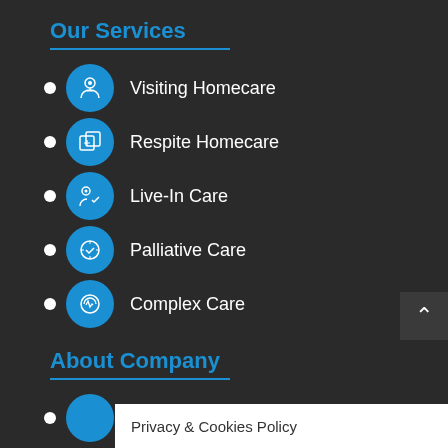Our Services
Visiting Homecare
Respite Homecare
Live-In Care
Palliative Care
Complex Care
About Company
Client FAQs
Care Updates
Fin…
Privacy & Cookies Policy